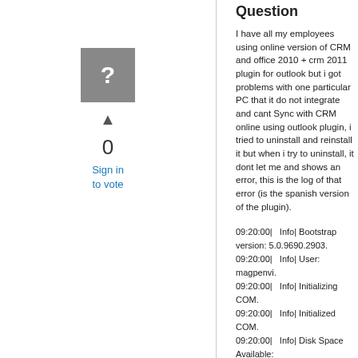Question
[Figure (other): Gray square icon with a white question mark]
0
Sign in to vote
I have all my employees using online version of CRM and office 2010 + crm 2011 plugin for outlook but i got problems with one particular PC that it do not integrate and cant Sync with CRM online using outlook plugin, i tried to uninstall and reinstall it but when i try to uninstall, it dont let me and shows an error, this is the log of that error (is the spanish version of the plugin).
09:20:00|   Info| Bootstrap version: 5.0.9690.2903.
09:20:00|   Info| User: magpenvi.
09:20:00|   Info| Initializing COM.
09:20:00|   Info| Initialized COM.
09:20:00|   Info| Disk Space Available: